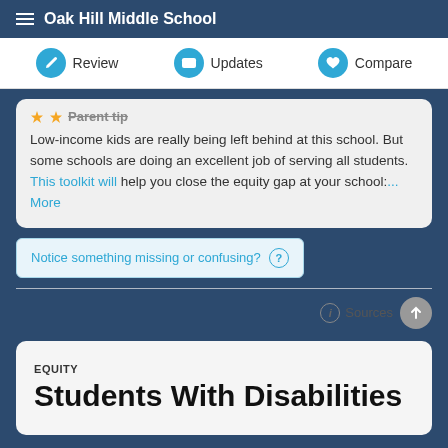Oak Hill Middle School
Review  Updates  Compare
Parent tip
Low-income kids are really being left behind at this school. But some schools are doing an excellent job of serving all students. This toolkit will help you close the equity gap at your school:... More
Notice something missing or confusing? ?
Sources
EQUITY
Students With Disabilities